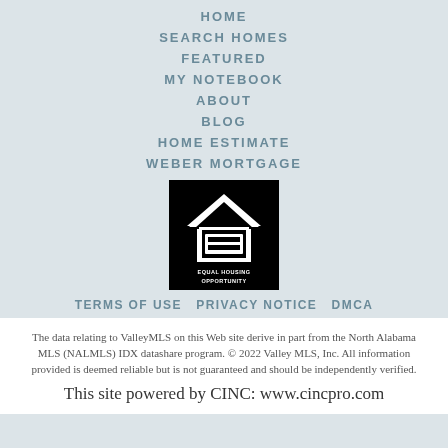HOME
SEARCH HOMES
FEATURED
MY NOTEBOOK
ABOUT
BLOG
HOME ESTIMATE
WEBER MORTGAGE
[Figure (logo): Equal Housing Opportunity logo — white house icon with equals sign on black background, text reading EQUAL HOUSING OPPORTUNITY]
TERMS OF USE   PRIVACY NOTICE   DMCA
The data relating to ValleyMLS on this Web site derive in part from the North Alabama MLS (NALMLS) IDX datashare program. © 2022 Valley MLS, Inc. All information provided is deemed reliable but is not guaranteed and should be independently verified.
This site powered by CINC: www.cincpro.com